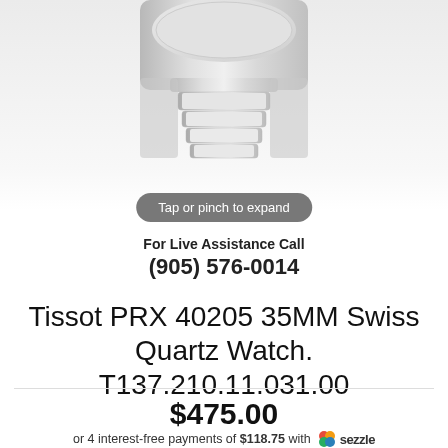[Figure (photo): Tissot PRX watch with silver/white dial and stainless steel bracelet, cropped showing bottom half of watch head and bracelet links, on light grey background with 'Tap or pinch to expand' badge overlay]
For Live Assistance Call
(905) 576-0014
Tissot PRX 40205 35MM Swiss Quartz Watch. T137.210.11.031.00
$475.00
or 4 interest-free payments of $118.75 with sezzle